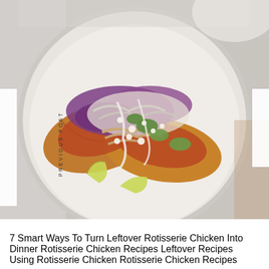[Figure (photo): Overhead view of chicken tacos on a white speckled ceramic plate, topped with shredded purple cabbage, avocado, crumbled white cheese, shredded chicken, and a creamy white sauce with lime wedges, served on a marble surface. Navigation labels 'PREVIOUS POST' on the left and 'NEXT POST' on the right are overlaid on the image.]
7 Smart Ways To Turn Leftover Rotisserie Chicken Into Dinner Rotisserie Chicken Recipes Leftover Recipes Using Rotisserie Chicken Rotisserie Chicken Recipes